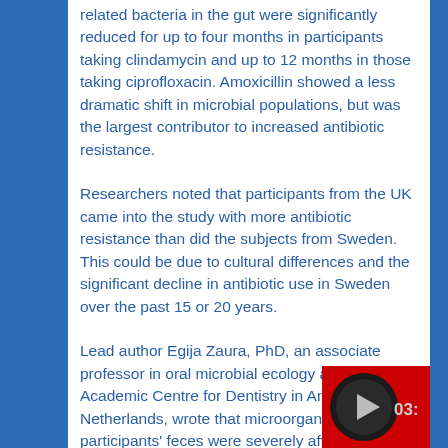related bacteria in the gut were significantly reduced for up to four months in participants taking clindamycin and up to 12 months in those taking ciprofloxacin. Amoxicillin showed a less dramatic shift in microbial populations, but was the largest contributor to increased antibiotic resistance.
Researchers noted that participants from the UK came into the study with more antibiotic resistance than did the subjects from Sweden. This could be due to cultural differences and the significant decline in antibiotic use in Sweden over the past 15 or 20 years.
Lead author Egija Zaura, PhD, an associate professor in oral microbial ecology at the Academic Centre for Dentistry in Amsterdam, the Netherlands, wrote that microorganisms in study participants' feces were severely affected by most of the antibiotics, with changes lasting for months. More specifically, researchers reported a decrease in the number of desirable microbes that produce butyrate, which inhibits inflammation, combats
[Figure (other): Video player overlay with play button and time display showing 03: in bottom right corner]